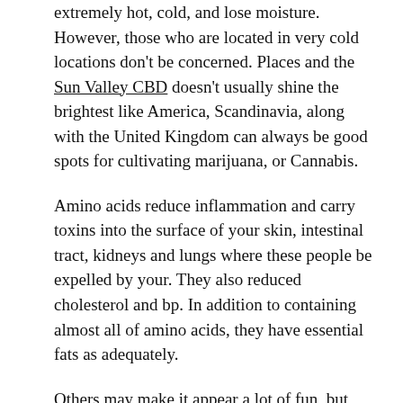extremely hot, cold, and lose moisture. However, those who are located in very cold locations don't be concerned. Places and the Sun Valley CBD doesn't usually shine the brightest like America, Scandinavia, along with the United Kingdom can always be good spots for cultivating marijuana, or Cannabis.
Amino acids reduce inflammation and carry toxins into the surface of your skin, intestinal tract, kidneys and lungs where these people be expelled by your. They also reduced cholesterol and bp. In addition to containing almost all of amino acids, they have essential fats as adequately.
Others may make it appear a lot of fun, but after the few minute high is now over you to help experience the pain. The most common adverse a reaction to marijuana is really a state of anxiety, sometimes